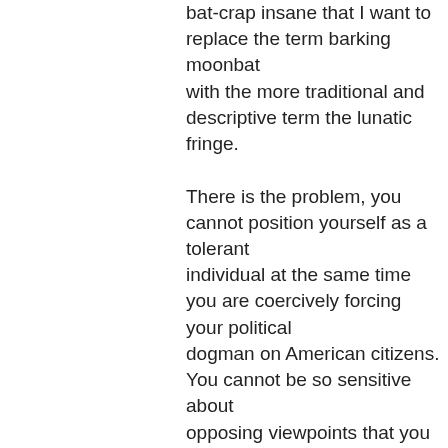bat-crap insane that I want to replace the term barking moonbat with the more traditional and descriptive term the lunatic fringe.

There is the problem, you cannot position yourself as a tolerant individual at the same time you are coercively forcing your political dogman on American citizens. You cannot be so sensitive about opposing viewpoints that you need a safe space, a fainting couch and smelling salts at the same time you are attacking Trump supporters, doxing your political enemies and beating up